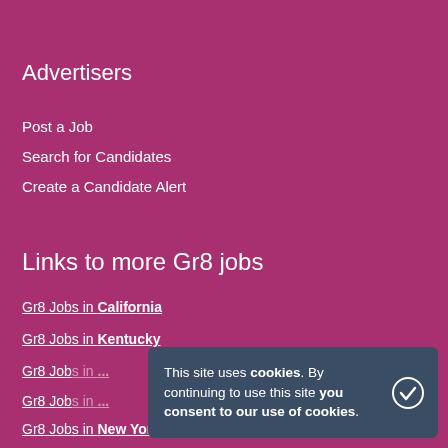Advertisers
Post a Job
Search for Candidates
Create a Candidate Alert
Links to more Gr8 jobs
Gr8 Jobs in California
Gr8 Jobs in Kentucky
Gr8 Jobs in [partially hidden]
Gr8 Jobs in [partially hidden]
Gr8 Jobs in New York
This site uses cookies. By continuing to use this site you consent to our use of cookies.